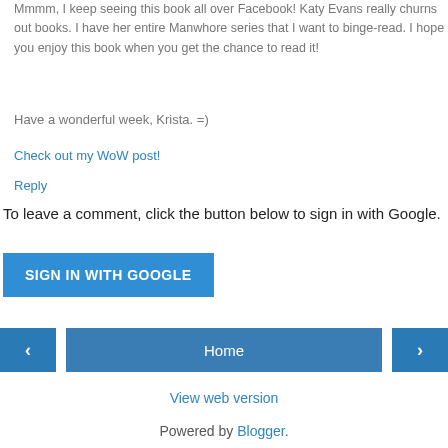Mmmm, I keep seeing this book all over Facebook! Katy Evans really churns out books. I have her entire Manwhore series that I want to binge-read. I hope you enjoy this book when you get the chance to read it!
Have a wonderful week, Krista. =)
Check out my WoW post!
Reply
To leave a comment, click the button below to sign in with Google.
SIGN IN WITH GOOGLE
‹
Home
›
View web version
Powered by Blogger.